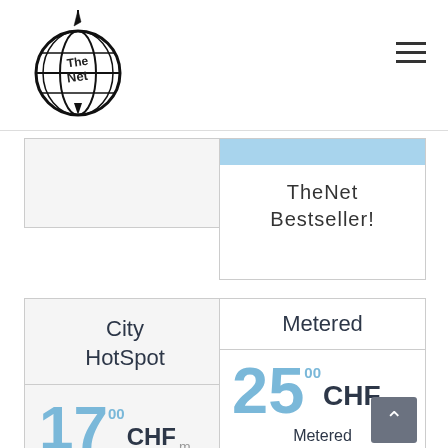[Figure (logo): TheNet globe logo with cursor arrow on top]
≡
TheNet Bestseller!
City HotSpot
17.00 CHF m
Metered
25.00 CHF
Metered